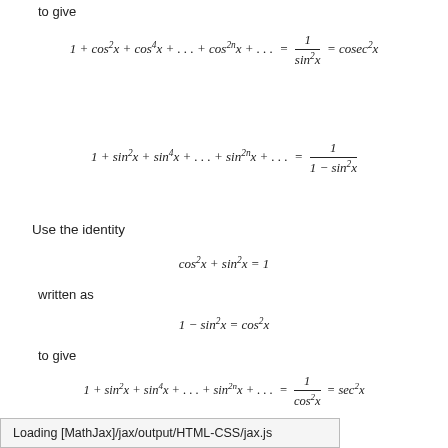to give
Use the identity
written as
to give
Loading [MathJax]/jax/output/HTML-CSS/jax.js